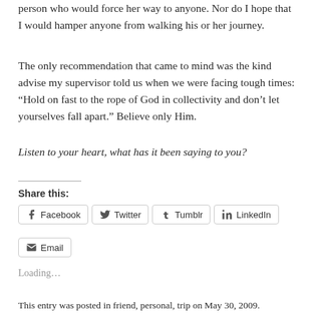person who would force her way to anyone. Nor do I hope that I would hamper anyone from walking his or her journey.
The only recommendation that came to mind was the kind advise my supervisor told us when we were facing tough times: “Hold on fast to the rope of God in collectivity and don’t let yourselves fall apart.” Believe only Him.
Listen to your heart, what has it been saying to you?
Share this:
Facebook  Twitter  Tumblr  LinkedIn  Email
Loading…
This entry was posted in friend, personal, trip on May 30, 2009.